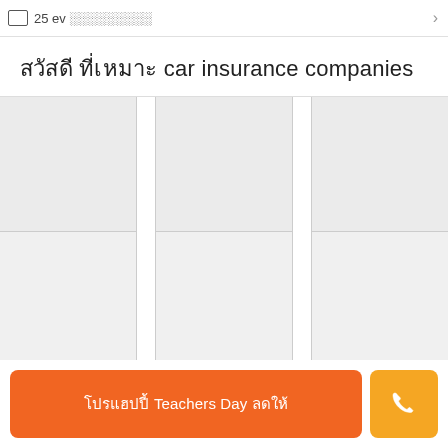25 ev ░░░░░░░░░
░░░░░░ ░░░░░░ car insurance companies
[Figure (other): Grid of card placeholders arranged in two rows and three columns with narrow dividers between them, showing a loading/skeleton state for insurance company listings.]
░░░░░░░░░░ Teachers Day ░░░░░░
[Figure (other): Orange phone call button icon]